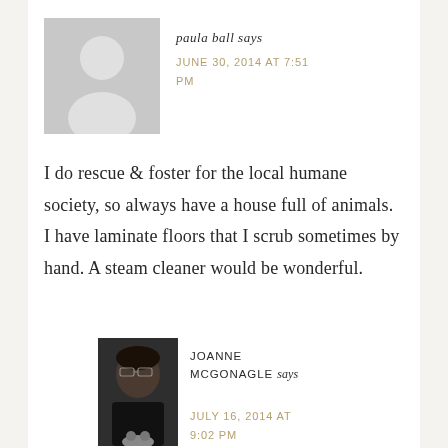[Figure (illustration): Gray placeholder avatar silhouette image for user paula ball]
paula ball says
JUNE 30, 2014 AT 7:51 PM
I do rescue & foster for the local humane society, so always have a house full of animals. I have laminate floors that I scrub sometimes by hand. A steam cleaner would be wonderful.
[Figure (photo): Photo of Joanne McGonagle, a woman with dark curly hair and glasses wearing a black top, with a cat visible below]
JOANNE MCGONAGLE says
JULY 16, 2014 AT 9:02 PM